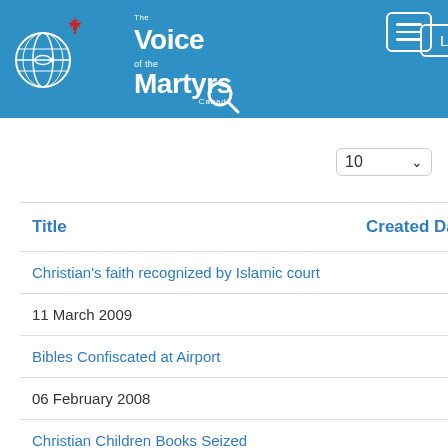[Figure (logo): The Voice of the Martyrs Canada logo with globe icon and maple leaf]
Login
| Title | Created Date |
| --- | --- |
| Christian's faith recognized by Islamic court |  |
| 11 March 2009 |  |
| Bibles Confiscated at Airport |  |
| 06 February 2008 |  |
| Christian Children Books Seized |  |
| 10 January 2008 |  |